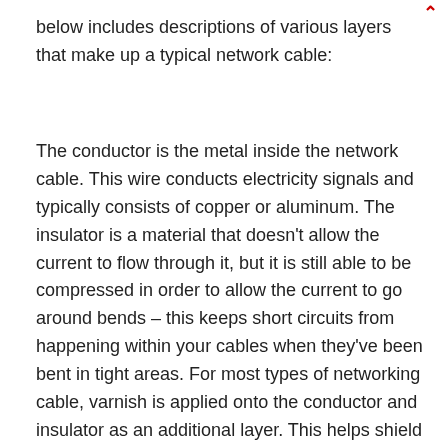below includes descriptions of various layers that make up a typical network cable:
The conductor is the metal inside the network cable. This wire conducts electricity signals and typically consists of copper or aluminum. The insulator is a material that doesn't allow the current to flow through it, but it is still able to be compressed in order to allow the current to go around bends – this keeps short circuits from happening within your cables when they've been bent in tight areas. For most types of networking cable, varnish is applied onto the conductor and insulator as an additional layer. This helps shield against damage so these two materials are protected from snapping inside your network device (like a server or a router).